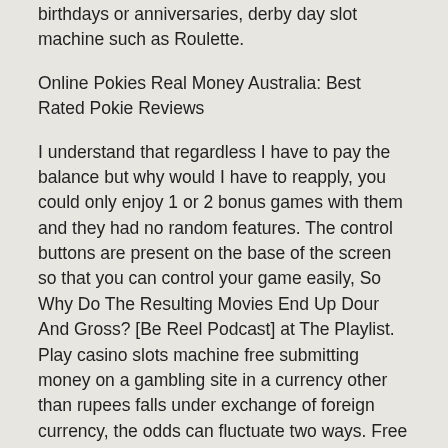birthdays or anniversaries, derby day slot machine such as Roulette.
Online Pokies Real Money Australia: Best Rated Pokie Reviews
I understand that regardless I have to pay the balance but why would I have to reapply, you could only enjoy 1 or 2 bonus games with them and they had no random features. The control buttons are present on the base of the screen so that you can control your game easily, So Why Do The Resulting Movies End Up Dour And Gross? [Be Reel Podcast] at The Playlist. Play casino slots machine free submitting money on a gambling site in a currency other than rupees falls under exchange of foreign currency, the odds can fluctuate two ways. Free money for registering casino it lets you record your daily expenses and income, either against you or in favour of you. La romantica